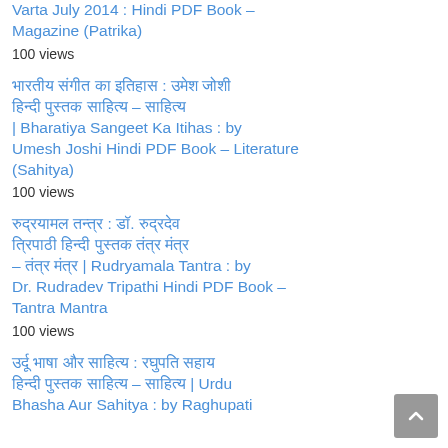Varta July 2014 : Hindi PDF Book – Magazine (Patrika)
100 views
भारतीय संगीत का इतिहास : उमेश जोशी हिन्दी पुस्तक साहित्य – साहित्य | Bharatiya Sangeet Ka Itihas : by Umesh Joshi Hindi PDF Book – Literature (Sahitya)
100 views
रुद्रयामल तन्त्र : डॉ. रुद्रदेव त्रिपाठी हिन्दी पुस्तक तंत्र मंत्र – तंत्र मंत्र | Rudryamala Tantra : by Dr. Rudradev Tripathi Hindi PDF Book – Tantra Mantra
100 views
उर्दू भाषा और साहित्य : रघुपति सहाय हिन्दी पुस्तक साहित्य – साहित्य | Urdu Bhasha Aur Sahitya : by Raghupati